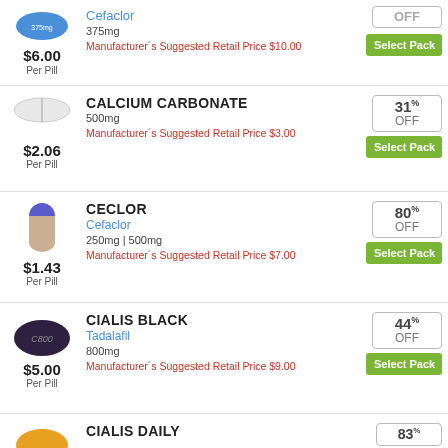[Figure (illustration): Blue oval pill (Cefaclor 375mg)]
$6.00
Per Pill
Cefaclor
375mg
Manufacturer's Suggested Retail Price $10.00
OFF
Select Pack
[Figure (illustration): White capsule (Calcium Carbonate 500mg)]
$2.06
Per Pill
CALCIUM CARBONATE
500mg
Manufacturer's Suggested Retail Price $3.00
31%
OFF
Select Pack
[Figure (illustration): Blue and tan capsule (Ceclor 250mg/500mg)]
$1.43
Per Pill
CECLOR
Cefaclor
250mg | 500mg
Manufacturer's Suggested Retail Price $7.00
80%
OFF
Select Pack
[Figure (illustration): Dark purple oval pill (Cialis Black 800mg)]
$5.00
Per Pill
CIALIS BLACK
Tadalafil
800mg
Manufacturer's Suggested Retail Price $9.00
44%
OFF
Select Pack
[Figure (illustration): Yellow/gold pill (Cialis Daily)]
CIALIS DAILY
83%